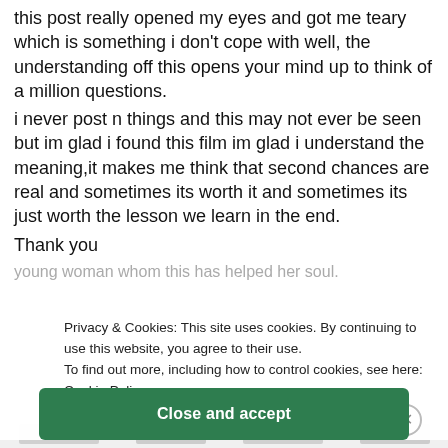this post really opened my eyes and got me teary which is something i don't cope with well, the understanding off this opens your mind up to think of a million questions.
i never post n things and this may not ever be seen but im glad i found this film im glad i understand the meaning,it makes me think that second chances are real and sometimes its worth it and sometimes its just worth the lesson we learn in the end.
Thank you
young woman whom this has helped her soul.
Privacy & Cookies: This site uses cookies. By continuing to use this website, you agree to their use.
To find out more, including how to control cookies, see here:
Cookie Policy
Close and accept